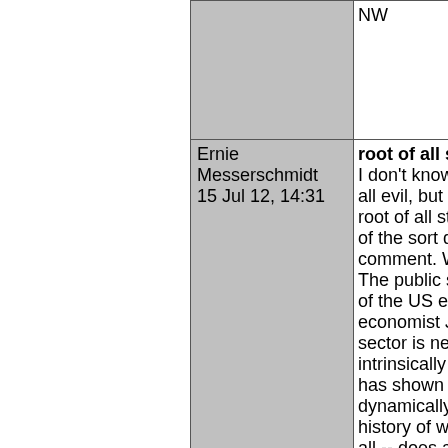|  |  | NW |
|  | Ernie Messerschmidt
15 Jul 12, 14:31 | root of all stu...
I don't know if all evil, but a g... root of all stup... of the sort disp... comment. We... The public sec... of the US eco... economist Ja... sector is nece... intrinsically ev... has shown its... dynamically gr... history of wor... all -- does alm... the public sec... production. W... balance betwe... sectors. Fast o... have the mix s... private sector,... parasitizes the... the worst of al... |